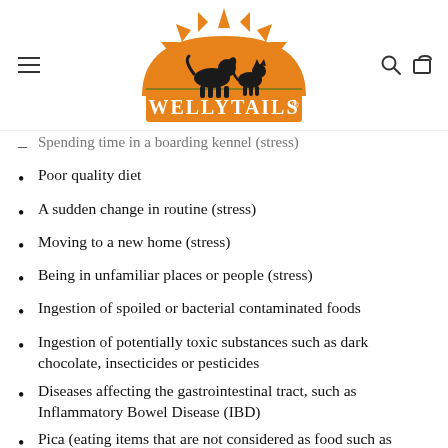[Figure (logo): WellyTails logo with orange sun and animal silhouettes]
Spending time in a boarding kennel (stress)
Poor quality diet
A sudden change in routine (stress)
Moving to a new home (stress)
Being in unfamiliar places or people (stress)
Ingestion of spoiled or bacterial contaminated foods
Ingestion of potentially toxic substances such as dark chocolate, insecticides or pesticides
Diseases affecting the gastrointestinal tract, such as Inflammatory Bowel Disease (IBD)
Pica (eating items that are not considered as food such as rocks, cat litter, feces, etc.)
Diets low in Prebiotic fibres. Prebiotics are compounds in diets that induce the growth or activity